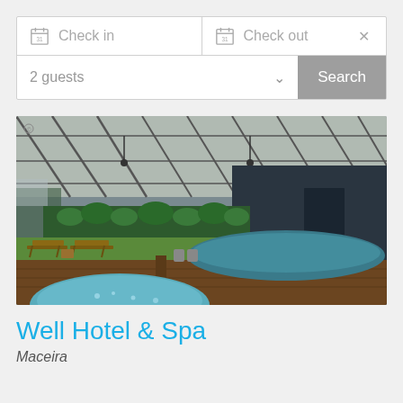[Figure (screenshot): Hotel booking search widget with Check in and Check out date fields, a 2 guests dropdown, and a Search button]
[Figure (photo): Indoor pool area of a hotel/spa with a glass roof, jacuzzi in foreground, main pool in middle, green hedge wall, wooden deck, lounge chairs, and dark blue walls]
Well Hotel & Spa
Maceira